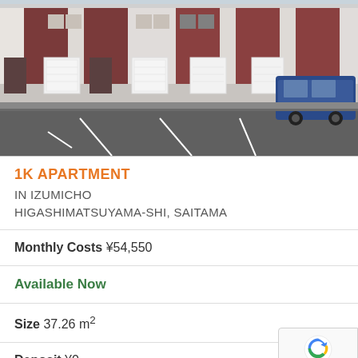[Figure (photo): Exterior photo of a modern Japanese apartment building with dark red/maroon and white facade, white garage doors, parking lot in foreground, blue SUV parked on right side]
1K APARTMENT
IN IZUMICHO
HIGASHIMATSUYAMA-SHI, SAITAMA
Monthly Costs ¥54,550
Available Now
Size 37.26 m²
Deposit ¥0
Key Money ¥0